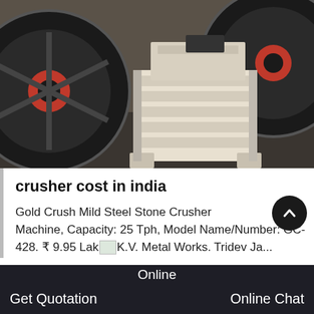[Figure (photo): Industrial jaw crusher machines with large black flywheels and cream/white painted steel body, photographed in a factory or warehouse setting.]
crusher cost in india
Gold Crush Mild Steel Stone Crusher Machine, Capacity: 25 Tph, Model Name/Number: GC-428. ₹ 9.95 Lakh. K.V. Metal Works. Tridev Ja...
Online   Get Quotation   Online Chat